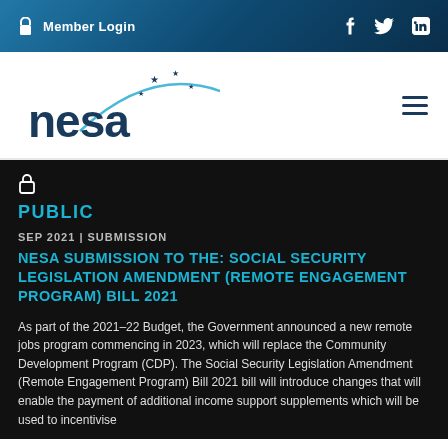Member Login
[Figure (logo): NESA logo with stylized arc and stars]
PUBLIC
SEP 2021 | SUBMISSION
NESA SUBMISSION TO THE: SOCIAL SECURITY LEGISLATION AMENDMENT (REMOTE ENGAGEMENT PROGRAM) BILL 2021
As part of the 2021-22 Budget, the Government announced a new remote jobs program commencing in 2023, which will replace the Community Development Program (CDP). The Social Security Legislation Amendment (Remote Engagement Program) Bill 2021 bill will introduce changes that will enable the payment of additional income support supplements which will be used to incentivise